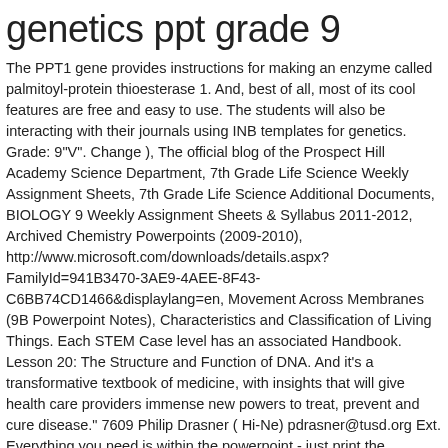genetics ppt grade 9
The PPT1 gene provides instructions for making an enzyme called palmitoyl-protein thioesterase 1. And, best of all, most of its cool features are free and easy to use. The students will also be interacting with their journals using INB templates for genetics. Grade: 9"V". Change ), The official blog of the Prospect Hill Academy Science Department, 7th Grade Life Science Weekly Assignment Sheets, 7th Grade Life Science Additional Documents, BIOLOGY 9 Weekly Assignment Sheets & Syllabus 2011-2012, Archived Chemistry Powerpoints (2009-2010), http://www.microsoft.com/downloads/details.aspx?FamilyId=941B3470-3AE9-4AEE-8F43-C6BB74CD1466&displaylang=en, Movement Across Membranes (9B Powerpoint Notes), Characteristics and Classification of Living Things. Each STEM Case level has an associated Handbook. Lesson 20: The Structure and Function of DNA. And it's a transformative textbook of medicine, with insights that will give health care providers immense new powers to treat, prevent and cure disease." 7609 Philip Drasner ( Hi-Ne) pdrasner@tusd.org Ext. Everything you need is within the powerpoint - just print the worksheets from there, but I've also included the activities as pdf files in case you prefer to print from